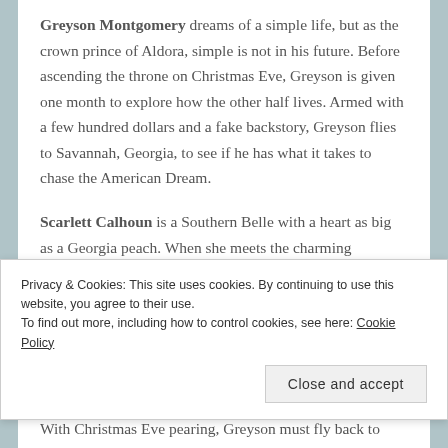Greyson Montgomery dreams of a simple life, but as the crown prince of Aldora, simple is not in his future. Before ascending the throne on Christmas Eve, Greyson is given one month to explore how the other half lives. Armed with a few hundred dollars and a fake backstory, Greyson flies to Savannah, Georgia, to see if he has what it takes to chase the American Dream.
Scarlett Calhoun is a Southern Belle with a heart as big as a Georgia peach. When she meets the charming construction worker, Greyson, it isn't long before she is embracing the holiday cheer. Soon, she's teaching him
Privacy & Cookies: This site uses cookies. By continuing to use this website, you agree to their use.
To find out more, including how to control cookies, see here: Cookie Policy
Close and accept
With Christmas Eve nearing, Greyson must fly back to